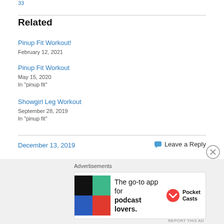Related
Pinup Fit Workout!
February 12, 2021
Pinup Fit Workout
May 15, 2020
In "pinup fit"
Showgirl Leg Workout
September 28, 2019
In "pinup fit"
December 13, 2019
Leave a Reply
[Figure (infographic): Pocket Casts advertisement: The go-to app for podcast lovers.]